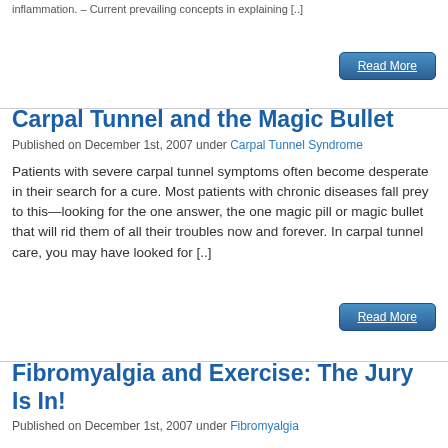inflammation. – Current prevailing concepts in explaining [..]
Read More
Carpal Tunnel and the Magic Bullet
Published on December 1st, 2007 under Carpal Tunnel Syndrome
Patients with severe carpal tunnel symptoms often become desperate in their search for a cure. Most patients with chronic diseases fall prey to this—looking for the one answer, the one magic pill or magic bullet that will rid them of all their troubles now and forever. In carpal tunnel care, you may have looked for [..]
Read More
Fibromyalgia and Exercise: The Jury Is In!
Published on December 1st, 2007 under Fibromyalgia
Fibromyalgia is a frustrating disease for many patients and physicians since drug treatments seem to provide little benefit. As studies accumulate, we find this to relate to better treatment strategies [..]